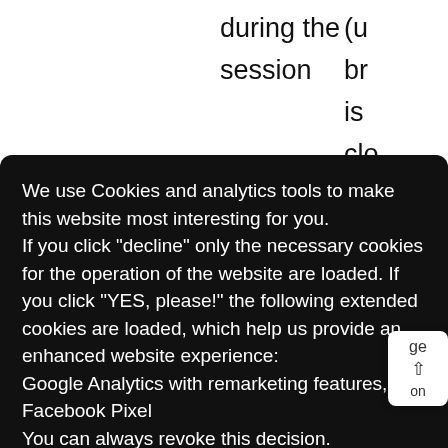during the
session
(u
br
is
clo
30
okie
ation
60
0 to
y
nu
on
1 y
We use Cookies and analytics tools to make this website most interesting for you.
If you click "decline" only the necessary cookies for the operation of the website are loaded. If you click "YES, please!" the following extended cookies are loaded, which help us provide an enhanced website experience:
Google Analytics with remarketing features,
Facebook Pixel
You can always revoke this decision.
to Privacy Policy
decline
YES, please!
ge
on
AmYetRedirectUrl
Saves